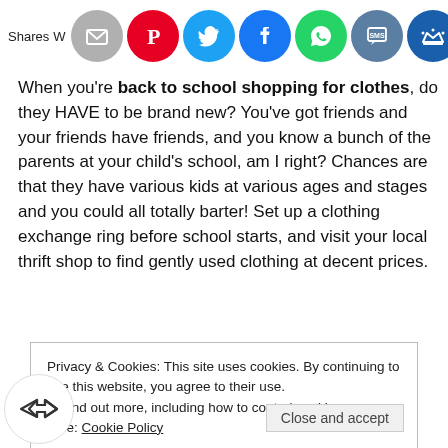[Figure (infographic): Social sharing bar with icons: share count label 'Shares', email (grey circle), Pinterest (red circle with P), Twitter (blue circle with bird), Facebook (blue circle with f), WhatsApp (green circle with phone), SMS (blue-grey circle with SMS), crown icon (dark blue circle)]
When you're back to school shopping for clothes, do they HAVE to be brand new? You've got friends and your friends have friends, and you know a bunch of the parents at your child's school, am I right? Chances are that they have various kids at various ages and stages and you could all totally barter! Set up a clothing exchange ring before school starts, and visit your local thrift shop to find gently used clothing at decent prices.
Privacy & Cookies: This site uses cookies. By continuing to use this website, you agree to their use.
To find out more, including how to control cookies, see here: Cookie Policy
Close and accept